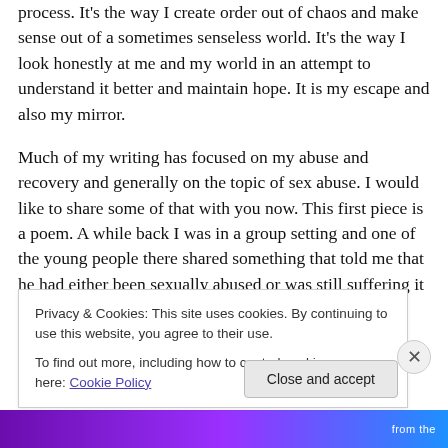process. It's the way I create order out of chaos and make sense out of a sometimes senseless world. It's the way I look honestly at me and my world in an attempt to understand it better and maintain hope. It is my escape and also my mirror.
Much of my writing has focused on my abuse and recovery and generally on the topic of sex abuse. I would like to share some of that with you now. This first piece is a poem. A while back I was in a group setting and one of the young people there shared something that told me that he had either been sexually abused or was still suffering it
Privacy & Cookies: This site uses cookies. By continuing to use this website, you agree to their use.
To find out more, including how to control cookies, see here: Cookie Policy
Close and accept